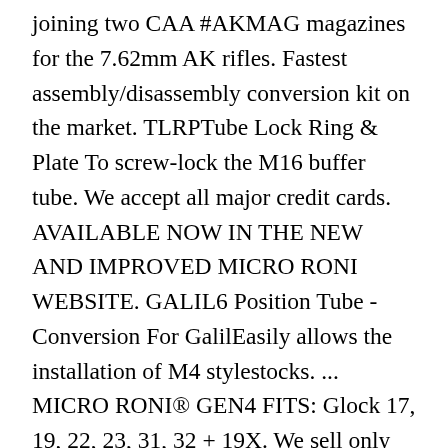joining two CAA #AKMAG magazines for the 7.62mm AK rifles. Fastest assembly/disassembly conversion kit on the market. TLRPTube Lock Ring & Plate To screw-lock the M16 buffer tube. We accept all major credit cards. AVAILABLE NOW IN THE NEW AND IMPROVED MICRO RONI WEBSITE. GALIL6 Position Tube - Conversion For GalilEasily allows the installation of M4 stylestocks. ... MICRO RONI® GEN4 FITS: Glock 17, 19, 22, 23, 31, 32 + 19X. We sell only original kits & accessories, developed and produced by CAA Industries. It comes with a Picatinny rail and Gen 2 Stabilizer *Does not fit EZ models *Compatible with 3.1 models *Flashlight, Flip-up Sights, and Thumb Rests